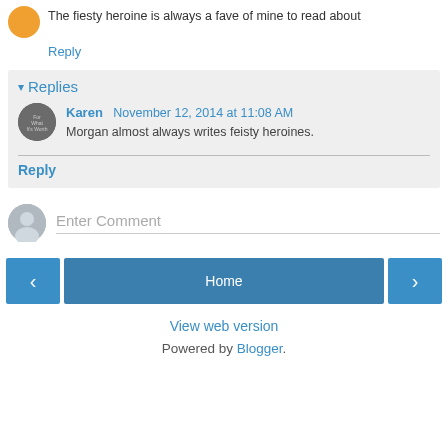The fiesty heroine is always a fave of mine to read about
Reply
Replies
Karen  November 12, 2014 at 11:08 AM
Morgan almost always writes feisty heroines.
Reply
Enter Comment
Home
View web version
Powered by Blogger.